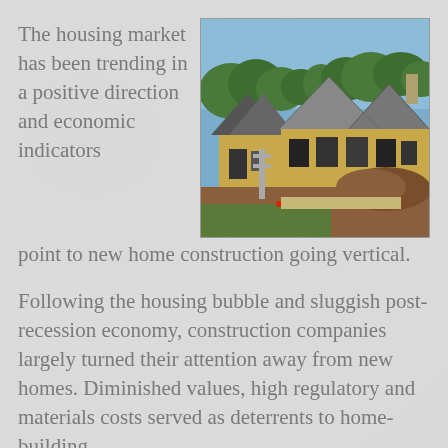The housing market has been trending in a positive direction and economic indicators point to new home construction going vertical.
[Figure (photo): Photograph of houses under construction with yellow/tan exterior framing and grey roofing, surrounded by trees and a pile of dirt in the foreground.]
Following the housing bubble and sluggish post-recession economy, construction companies largely turned their attention away from new homes. Diminished values, high regulatory and materials costs served as deterrents to home-building.